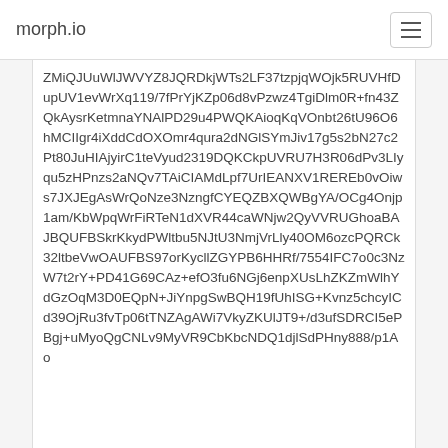morph.io
ZMiQJUuWlJWVYZ8JQRDkjWTs2LF37tzpjqWOjk5RUVHfDupUV1evWrXq119/7fPrYjKZp06d8vPzwz4TgiDlm0R+fn43ZQkAysrKetmnaYNAlPD29u4PWQKAioqKqVOnbt26tU96O6hMCIIgr4iXddCdOXOmr4qura2dNGlSYmJiv17g5s2bN27c2Pt80JuHIAjyirC1teVyud2319DQKCkpUVRU7H3R06dPv3LIyqu5zHPnzs2aNQv7TAiCIAMdLpf7UrIEANXV1REREb0vOiws7JXJEgAsWrQoNze3NzngfCYEQZBXQWBgYA/OCg4Onjp1am/KbWpqWrFiRTeN1dXVR44caWNjw2QyVVRUGhoaBAJBQUFBSkrKkydPWltbu5NJtU3NmjVrLly40OM6ozcPQRCk32ltbeVwOAUFBS97orKycllZGYPB6HHRf/7554IFC7o0c3NzW7t2rY+PD41G69CAz+efO3fu6NGj6enpXUsLhZKZmWlhYdGzOqM3D0EQpN+JiYnpgSwBQH19fUhISG+Kvnz5chcyICd39OjRu3fvTp06tTNZAgAWi7VkyZKUlJT9+/d3ufSDRCI5ePBgj+uMyoQgCNLv9MyVR9CbKbcNDQ1djlSdPHny888/p1Ao